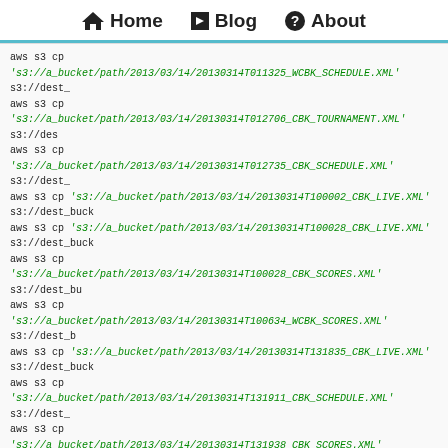Home Blog About
[Figure (screenshot): Code block showing aws s3 cp commands with S3 paths, followed by a comment '#and 10K more lines to follow.']
Now we can just source out.txt to get the copying going.
What's happened
Refer back to how vim is being run above, line by line:
$ vim starts Vim
-u NONE tells vim not to use .vimrc (just to avoid using